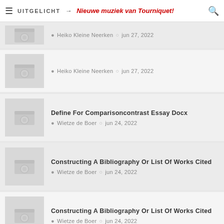UITGELICHT → Nieuwe muziek van Tourniquet!
Heiko Kleine Neerken · jun 27, 2022
Heiko Kleine Neerken · jun 27, 2022
Define For Comparisoncontrast Essay Docx
Wietze de Boer · jun 24, 2022
Constructing A Bibliography Or List Of Works Cited
Wietze de Boer · jun 24, 2022
Constructing A Bibliography Or List Of Works Cited
Wietze de Boer · jun 24, 2022
Custom Faculty Essay Writing Service For One
Wietze de Boer · jun 24, 2022